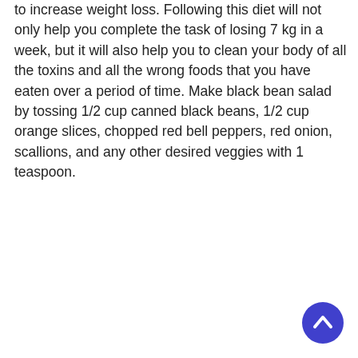to increase weight loss. Following this diet will not only help you complete the task of losing 7 kg in a week, but it will also help you to clean your body of all the toxins and all the wrong foods that you have eaten over a period of time. Make black bean salad by tossing 1/2 cup canned black beans, 1/2 cup orange slices, chopped red bell peppers, red onion, scallions, and any other desired veggies with 1 teaspoon.
[Figure (other): A purple/indigo circular scroll-to-top button with an upward-pointing chevron arrow, positioned at the bottom-right of the page.]